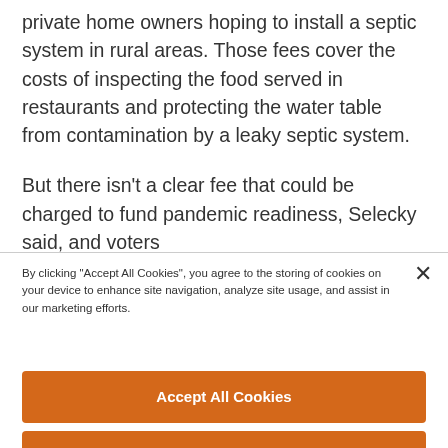private home owners hoping to install a septic system in rural areas. Those fees cover the costs of inspecting the food served in restaurants and protecting the water table from contamination by a leaky septic system.
But there isn't a clear fee that could be charged to fund pandemic readiness, Selecky said, and voters
By clicking "Accept All Cookies", you agree to the storing of cookies on your device to enhance site navigation, analyze site usage, and assist in our marketing efforts.
Accept All Cookies
Reject All
Cookies Settings